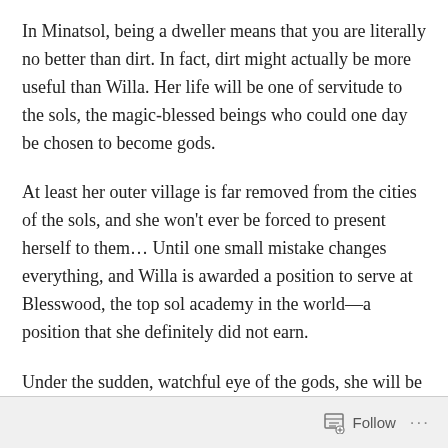In Minatsol, being a dweller means that you are literally no better than dirt. In fact, dirt might actually be more useful than Willa. Her life will be one of servitude to the sols, the magic-blessed beings who could one day be chosen to become gods.
At least her outer village is far removed from the cities of the sols, and she won't ever be forced to present herself to them… Until one small mistake changes everything, and Willa is awarded a position to serve at Blesswood, the top sol academy in the world—a position that she definitely did not earn.
Under the sudden, watchful eye of the gods, she will be tasked to serve the Abcurse brothers, five sols built of
Follow ···